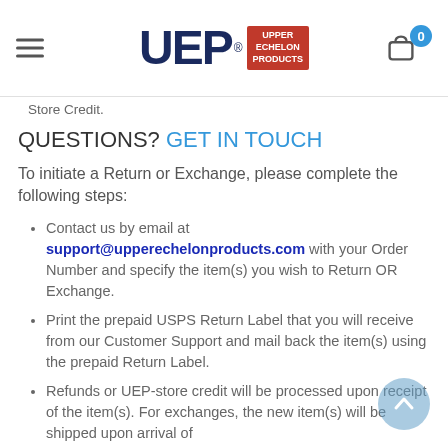UEP Upper Echelon Products
Store Credit.
QUESTIONS? GET IN TOUCH
To initiate a Return or Exchange, please complete the following steps:
Contact us by email at support@upperechelonproducts.com with your Order Number and specify the item(s) you wish to Return OR Exchange.
Print the prepaid USPS Return Label that you will receive from our Customer Support and mail back the item(s) using the prepaid Return Label.
Refunds or UEP-store credit will be processed upon receipt of the item(s). For exchanges, the new item(s) will be shipped upon arrival of